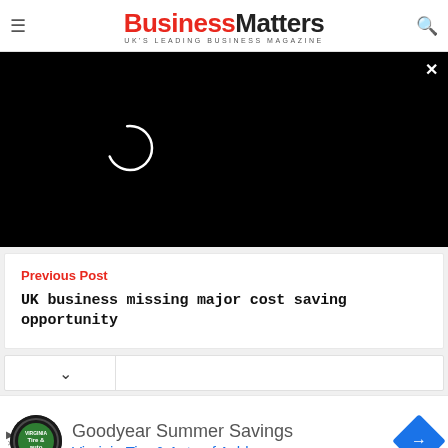BusinessMatters — UK'S LEADING BUSINESS MAGAZINE
[Figure (screenshot): Black video player area with loading spinner circle and X close button in top right]
Previous Post
UK business missing major cost saving opportunity
[Figure (screenshot): Navigation chevron bar with down arrow chevron on left side]
[Figure (screenshot): Advertisement: Goodyear Summer Savings — Virginia Tire & Auto of Ashburn ... with logo and blue navigation arrow icon]